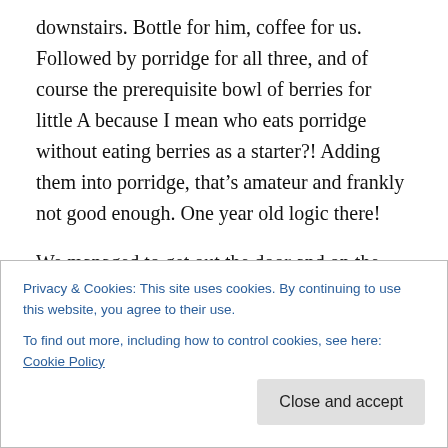downstairs. Bottle for him, coffee for us. Followed by porridge for all three, and of course the prerequisite bowl of berries for little A because I mean who eats porridge without eating berries as a starter?! Adding them into porridge, that’s amateur and frankly not good enough. One year old logic there!
We managed to get out the door and on the road with time to spare. Chats in the car, dah, dah, dah, yeph that’s a bird, dahhh, yeah a car, dah DAH, hmmm I’m not sure what you’re pointing at. Into creche, and suddenly sullen.
Privacy & Cookies: This site uses cookies. By continuing to use this website, you agree to their use.
To find out more, including how to control cookies, see here: Cookie Policy